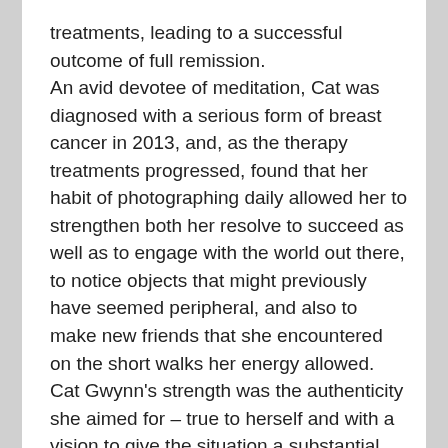treatments, leading to a successful outcome of full remission.

An avid devotee of meditation, Cat was diagnosed with a serious form of breast cancer in 2013, and, as the therapy treatments progressed, found that her habit of photographing daily allowed her to strengthen both her resolve to succeed as well as to engage with the world out there, to notice objects that might previously have seemed peripheral, and also to make new friends that she encountered on the short walks her energy allowed. Cat Gwynn's strength was the authenticity she aimed for – true to herself and with a vision to give the situation a substantial dose of optimism, regardless of momentary difficulties. I would like to quote at length from what she